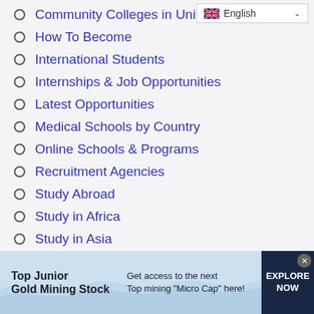[Figure (screenshot): Language selector dropdown showing UK flag and 'English' with dropdown arrow]
Community Colleges in Unit…
How To Become
International Students
Internships & Job Opportunities
Latest Opportunities
Medical Schools by Country
Online Schools & Programs
Recruitment Agencies
Study Abroad
Study in Africa
Study in Asia
Study in Australia
[Figure (infographic): Ad banner: Top Junior Gold Mining Stock — Get access to the next Top mining Micro Cap here! — EXPLORE NOW button]